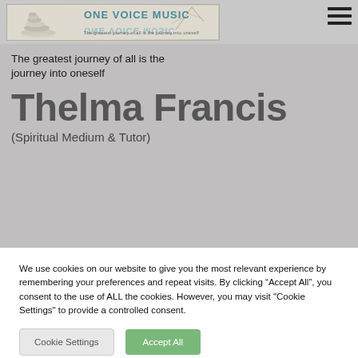[Figure (logo): One Voice Music logo banner with stacked stones, plant, reflected text reading 'ONE VOICE MUSIC' and tagline 'The greatest journey of all is the journey into oneself']
The greatest journey of all is the journey into oneself
Thelma Francis
(Spiritual Medium & Tutor)
We use cookies on our website to give you the most relevant experience by remembering your preferences and repeat visits. By clicking “Accept All”, you consent to the use of ALL the cookies. However, you may visit "Cookie Settings" to provide a controlled consent.